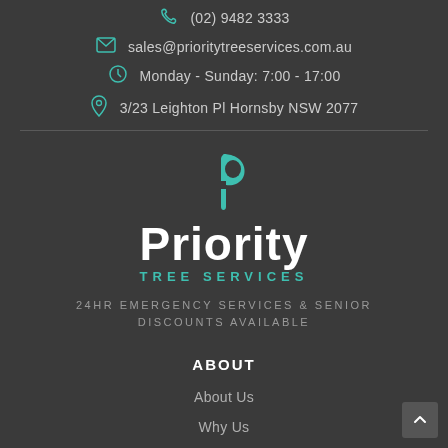(02) 9482 3333
sales@prioritytreeservices.com.au
Monday - Sunday: 7:00 - 17:00
3/23 Leighton Pl Hornsby NSW 2077
[Figure (logo): Priority Tree Services logo with teal leaf/P icon above the word Priority in white bold text and TREE SERVICES in teal spaced capitals]
24HR EMERGENCY SERVICES & SENIOR DISCOUNTS AVAILABLE
ABOUT
About Us
Why Us
Customer Testimonials